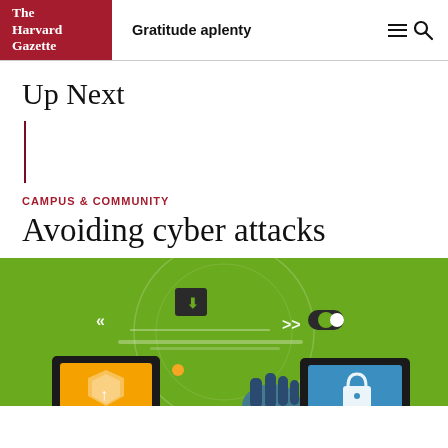The Harvard Gazette | Gratitude aplenty
Up Next
CAMPUS & COMMUNITY
Avoiding cyber attacks
[Figure (illustration): Colorful infographic on green background showing cyber security concepts: a tablet with a shield/upload icon, a download icon, arrows, a toggle switch icon, and a hand reaching toward a lock icon on a blue screen, with circular translucent overlays suggesting network/connectivity themes.]